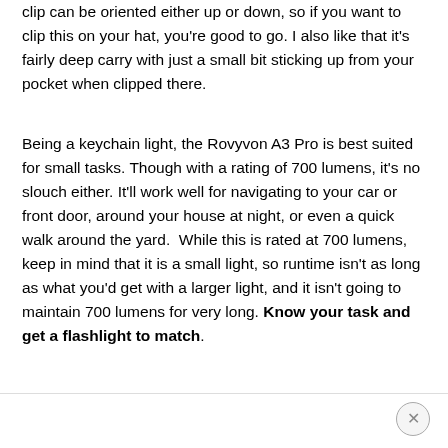clip can be oriented either up or down, so if you want to clip this on your hat, you're good to go. I also like that it's fairly deep carry with just a small bit sticking up from your pocket when clipped there.
Being a keychain light, the Rovyvon A3 Pro is best suited for small tasks. Though with a rating of 700 lumens, it's no slouch either. It'll work well for navigating to your car or front door, around your house at night, or even a quick walk around the yard.  While this is rated at 700 lumens, keep in mind that it is a small light, so runtime isn't as long as what you'd get with a larger light, and it isn't going to maintain 700 lumens for very long. Know your task and get a flashlight to match.